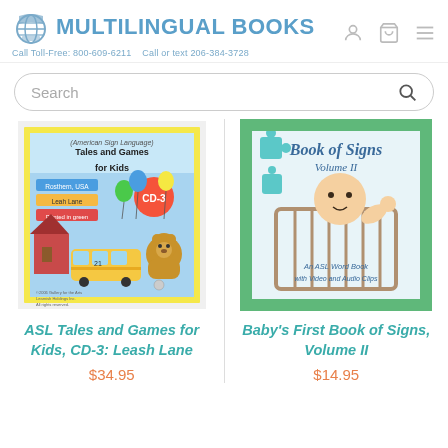[Figure (logo): Multilingual Books logo with globe icon, teal and blue text reading MULTILINGUAL BOOKS, Call Toll-Free: 800-609-6211, Call or text 206-384-3728]
[Figure (screenshot): Search bar with rounded border and magnifying glass icon]
[Figure (photo): Book cover: ASL Tales and Games for Kids CD-3 Leash Lane, showing a bear with balloons and a school bus]
ASL Tales and Games for Kids, CD-3: Leash Lane
$34.95
[Figure (photo): Book cover: Baby's First Book of Signs Volume II, showing a baby in a crib with puzzle pieces. An ASL Word Book with Video and Audio Clips.]
Baby's First Book of Signs, Volume II
$14.95